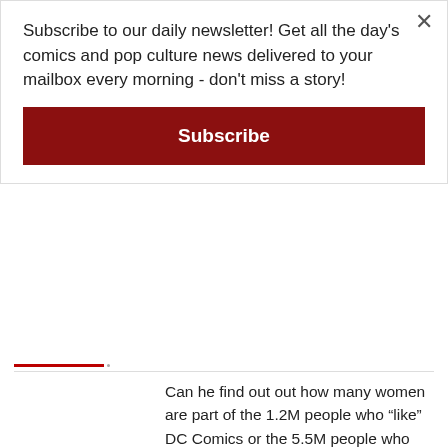Subscribe to our daily newsletter! Get all the day's comics and pop culture news delivered to your mailbox every morning - don't miss a story!
Subscribe
Can he find out out how many women are part of the 1.2M people who “like” DC Comics or the 5.5M people who “like” Marvel?
Brett
09/19/2013 12:24 am At 12:24 am
@Sue
Here’s one for DC,
http://graphicpolicy.com/2013/05/27/facebook-fandom-spotlight-dc-comics/ which is about 31% women
Here’s one for Marvel,